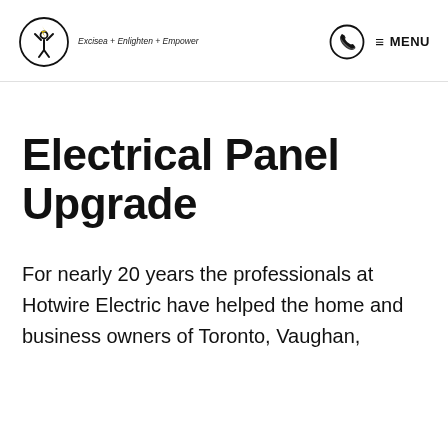Excisea + Enlighten + Empower | MENU
Electrical Panel Upgrade
For nearly 20 years the professionals at Hotwire Electric have helped the home and business owners of Toronto, Vaughan,